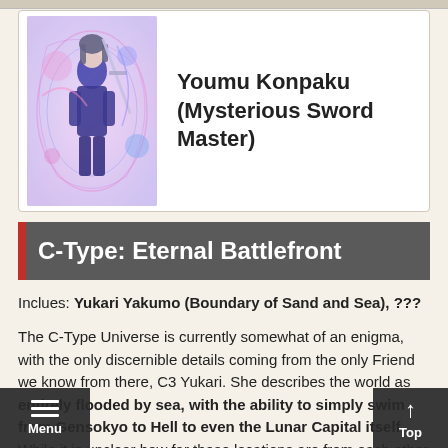[Figure (illustration): Youmu Konpaku character illustration - anime style character in dark outfit with sword, surrounded by colorful energy effects in pink, purple and blue]
Youmu Konpaku (Mysterious Sword Master)
C-Type: Eternal Battlefront
Inclues: Yukari Yakumo (Boundary of Sand and Sea), ???
The C-Type Universe is currently somewhat of an enigma, with the only discernible details coming from the only Friend we know from there, C3 Yukari. She describes the world as entirely flooded by sea, with the ability to simply swim from Gensokyo to Hell to even the Lunar Capital itself. While it is unclear how far these locations are from each other (or if Yukari is even telling the truth), this makes it